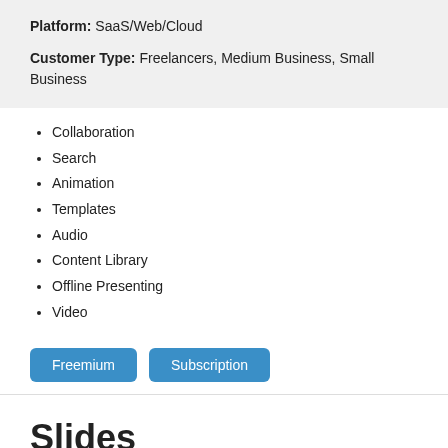Platform: SaaS/Web/Cloud
Customer Type: Freelancers, Medium Business, Small Business
Collaboration
Search
Animation
Templates
Audio
Content Library
Offline Presenting
Video
Freemium   Subscription
Slides
★★★★☆ (4 out of 5 stars)